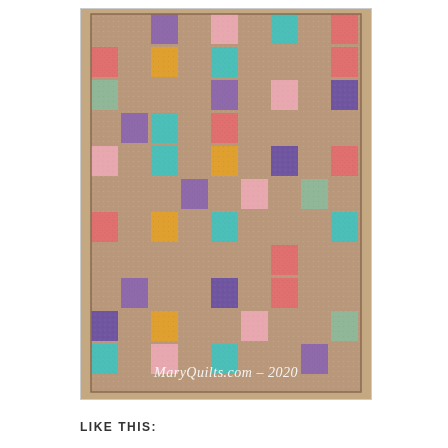[Figure (photo): A patchwork quilt laid flat, showing a grid of colored fabric squares (coral/pink, teal, purple, yellow/orange, tan/beige, sage green, light pink) separated by tan background fabric, with the watermark text MaryQuilts.com - 2020 overlaid at the bottom of the image.]
Like this: